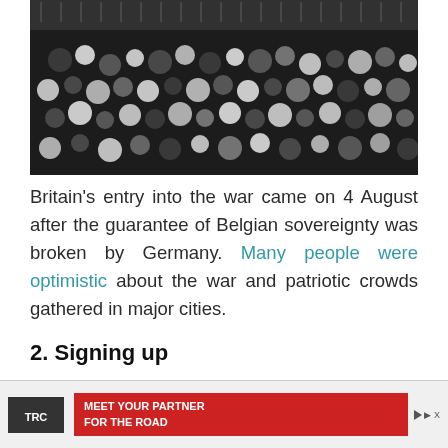[Figure (photo): Black and white historical photograph showing a large patriotic crowd gathered in a major city, with people waving hats and flags.]
Britain's entry into the war came on 4 August after the guarantee of Belgian sovereignty was broken by Germany. Many people were optimistic about the war and patriotic crowds gathered in major cities.
2. Signing up
[Figure (photo): Black and white historical photograph of a classical building exterior, partially visible.]
[Figure (other): Advertisement banner: TRC logo with text 'MEET YOUR PARTNER FOR THE ROAD']